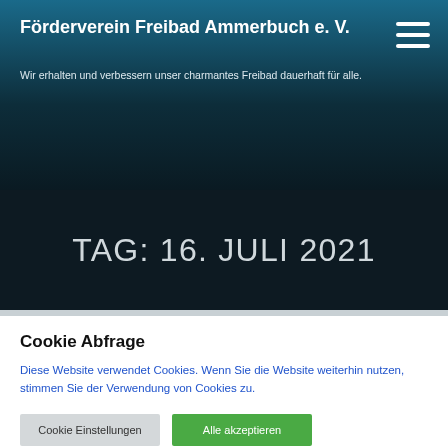Förderverein Freibad Ammerbuch e. V.
Wir erhalten und verbessern unser charmantes Freibad dauerhaft für alle.
TAG: 16. JULI 2021
Cookie Abfrage
Diese Website verwendet Cookies. Wenn Sie die Website weiterhin nutzen, stimmen Sie der Verwendung von Cookies zu.
Cookie Einstellungen
Alle akzeptieren